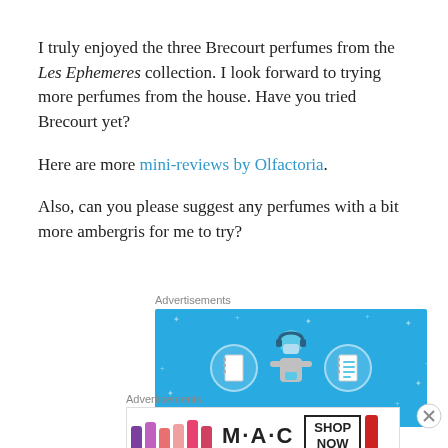I truly enjoyed the three Brecourt perfumes from the Les Ephemeres collection. I look forward to trying more perfumes from the house. Have you tried Brecourt yet?
Here are more mini-reviews by Olfactoria.
Also, can you please suggest any perfumes with a bit more ambergris for me to try?
[Figure (infographic): Blue advertisement banner showing a cartoon person holding notebook icons with star decorations on blue background]
[Figure (infographic): MAC cosmetics advertisement showing colorful lipsticks with MAC logo and SHOP NOW button]